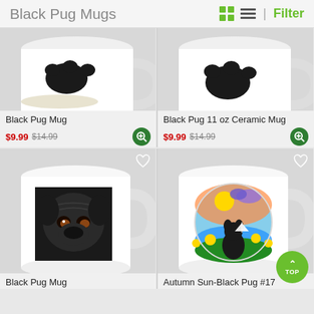Black Pug Mugs
[Figure (photo): Cropped top view of a white mug with a black pug paw on a light surface]
Black Pug Mug
$9.99 $14.99
[Figure (photo): Cropped top view of a white mug with a black pug paw]
Black Pug 11 oz Ceramic Mug
$9.99 $14.99
[Figure (photo): White mug with a black pug face portrait artwork on dark background]
Black Pug Mug
[Figure (photo): White mug with colorful autumn sun artwork featuring a black pug in sunflower field]
Autumn Sun-Black Pug #17